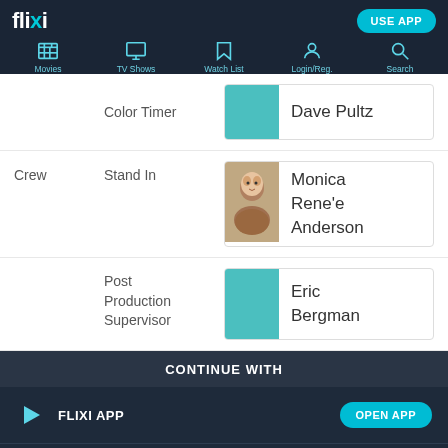flixi — Movies, TV Shows, Watch List, Login/Reg., Search — USE APP
Color Timer — Dave Pultz
Crew — Stand In — Monica Rene'e Anderson
Post Production Supervisor — Eric Bergman
CONTINUE WITH
FLIXI APP — OPEN APP
CHROME — CONTINUE